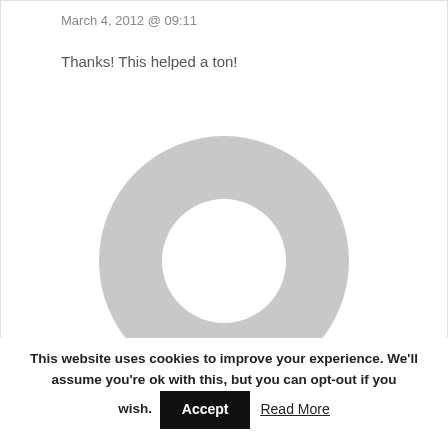March 4, 2012 @ 09:11
Thanks! This helped a ton!
[Figure (illustration): Circular user avatar placeholder: a large gray donut/ring shape (gray outer circle with white inner circle cutout) on a white background, representing a default user profile image.]
This website uses cookies to improve your experience. We'll assume you're ok with this, but you can opt-out if you wish. Accept   Read More